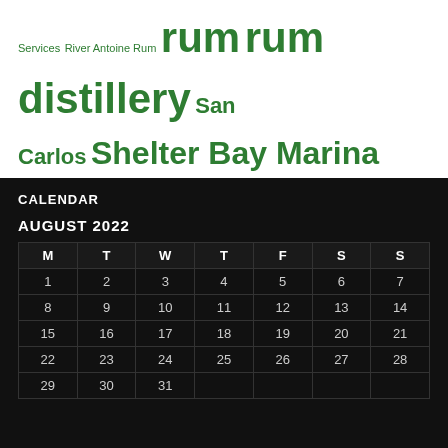[Figure (other): Tag cloud with green text showing various travel/sailing related terms in different sizes: Services, River Antoine Rum, rum, rum distillery, San Carlos, Shelter Bay Marina, Snowaway, Spice Island, St George's, sunset, Tobago Cays, Tony's Boat Management, Trinidad, Triton Marine Services, turtles, Union Island]
CALENDAR
AUGUST 2022
| M | T | W | T | F | S | S |
| --- | --- | --- | --- | --- | --- | --- |
| 1 | 2 | 3 | 4 | 5 | 6 | 7 |
| 8 | 9 | 10 | 11 | 12 | 13 | 14 |
| 15 | 16 | 17 | 18 | 19 | 20 | 21 |
| 22 | 23 | 24 | 25 | 26 | 27 | 28 |
| 29 | 30 | 31 |  |  |  |  |